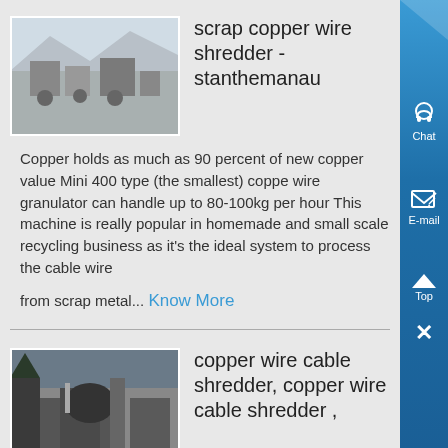[Figure (photo): Scrap copper wire shredder - outdoor industrial machinery on rocky terrain]
scrap copper wire shredder - stanthemanau
Copper holds as much as 90 percent of new copper value Mini 400 type (the smallest) copper wire granulator can handle up to 80-100kg per hour This machine is really popular in homemade and small scale recycling business as it's the ideal system to process the cable wire
from scrap metal... Know More
[Figure (photo): Copper wire cable shredder machinery - industrial equipment]
copper wire cable shredder, copper wire cable shredder ,
copper wire cable shredder, Wholesale Various High Quality copper wire cable shredder Products from Global Sodium Tripolyphosphate